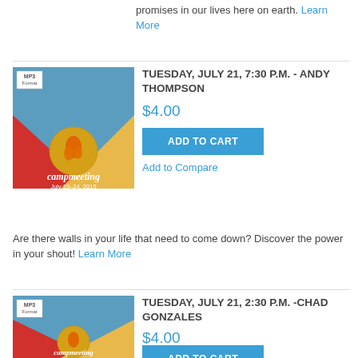promises in our lives here on earth. Learn More
[Figure (illustration): Camp meeting MP3 product image - July 19-24, 2015]
TUESDAY, JULY 21, 7:30 P.M. - ANDY THOMPSON
$4.00
ADD TO CART
Add to Compare
Are there walls in your life that need to come down? Discover the power in your shout! Learn More
[Figure (illustration): Camp meeting MP3 product image - July 19-24, 2015]
TUESDAY, JULY 21, 2:30 P.M. -CHAD GONZALES
$4.00
ADD TO CART
Add to Compare